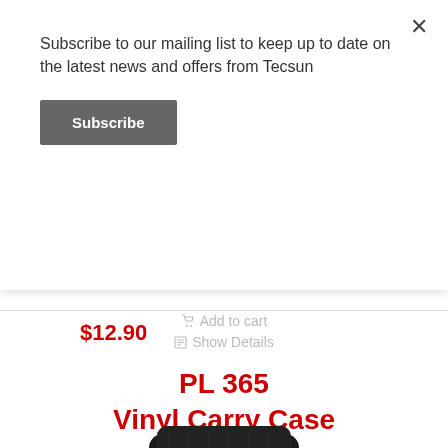Subscribe to our mailing list to keep up to date on the latest news and offers from Tecsun
Subscribe
$12.90
Add to cart
Show Details
PL 365 Vinyl Carry Case
[Figure (photo): Black vinyl carry case with TECSUN branding label, shown from the front. The case has a clip/flap closure at the top.]